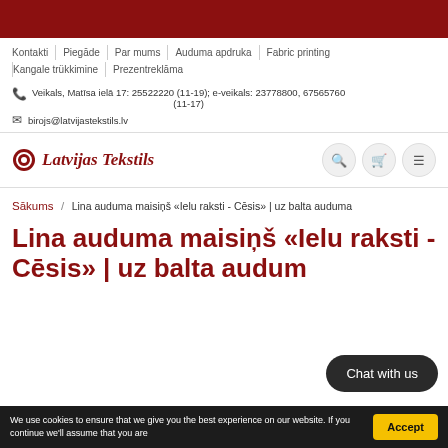Dark red header bar
Kontakti | Piegāde | Par mums | Auduma apdruka | Fabric printing
Kangale trükkimine | Prezentreklāma
Veikals, Matīsa ielā 17: 25522220 (11-19); e-veikals: 23778800, 67565760 (11-17)
birojs@latvijastekstils.lv
[Figure (logo): Latvijas Tekstils logo with circular icon and bold italic red text]
Sākums / Lina auduma maisiņš «Ielu raksti - Cēsis» | uz balta auduma
Lina auduma maisiņš «Ielu raksti - Cēsis» | uz balta auduma
Chat with us
We use cookies to ensure that we give you the best experience on our website. If you continue we'll assume that you are    Accept